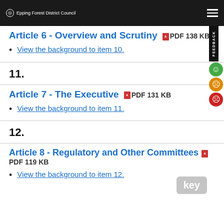Epping Forest District Council
Article 6 - Overview and Scrutiny  PDF 138 KB
View the background to item 10.
11.
Article 7 - The Executive  PDF 131 KB
View the background to item 11.
12.
Article 8 - Regulatory and Other Committees  PDF 119 KB
View the background to item 12.